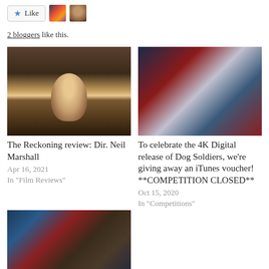[Figure (other): Like button with star icon and two blogger avatars]
2 bloggers like this.
[Figure (photo): The Reckoning movie still - woman in dim lit room]
The Reckoning review: Dir. Neil Marshall
Apr 16, 2021
In "Film Reviews"
[Figure (photo): Dog Soldiers movie artwork - horror artwork with blue and red tones]
To celebrate the 4K Digital release of Dog Soldiers, we're giving away an iTunes voucher! **COMPETITION CLOSED**
Oct 15, 2020
In "Competitions"
[Figure (photo): Dog Soldiers merchandise/box set items]